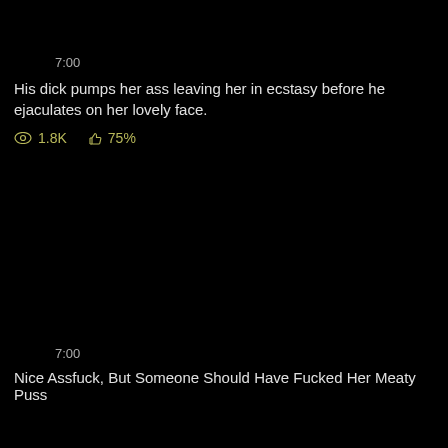7:00
His dick pumps her ass leaving her in ecstasy before he ejaculates on her lovely face.
1.8K  75%
7:00
Nice Assfuck, But Someone Should Have Fucked Her Meaty Puss